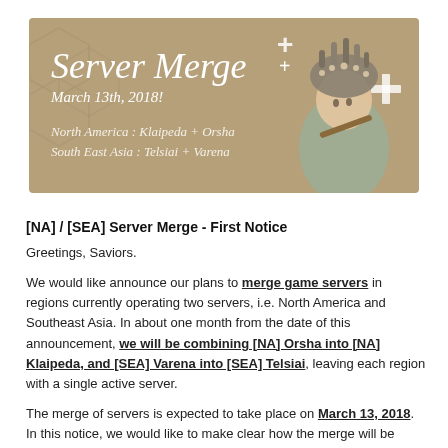[Figure (illustration): Server Merge banner image with tan/brown background showing a decorated anime-style character and text: 'Server Merge+ March 13th, 2018! North America: Klaipeda + Orsha, South East Asia: Telsiai + Varena']
[NA] / [SEA] Server Merge - First Notice
Greetings, Saviors.
We would like announce our plans to merge game servers in regions currently operating two servers, i.e. North America and Southeast Asia. In about one month from the date of this announcement, we will be combining [NA] Orsha into [NA] Klaipeda, and [SEA] Varena into [SEA] Telsiai, leaving each region with a single active server.
The merge of servers is expected to take place on March 13, 2018. In this notice, we would like to make clear how the merge will be processed and what you can expect if you're playing in [NA] or [SEA].